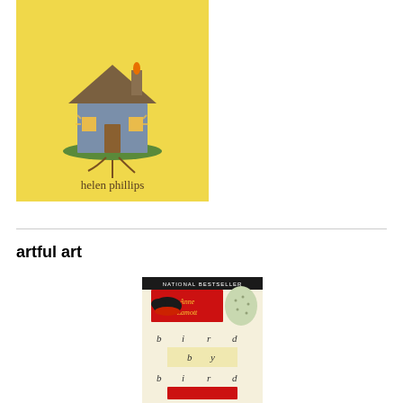[Figure (illustration): Book cover with yellow background featuring an illustrated house with glowing windows, chimney with flame, and roots at the bottom. Author name 'helen phillips' at bottom.]
artful art
[Figure (illustration): Book cover for 'Bird by Bird' by Anne Lamott, a National Bestseller. Shows a red diagonal banner with author name, a bird illustration, and a speckled egg. Below are the letters 'b i r d' and 'b y' and 'b i r d' arranged in a grid-like typography pattern.]